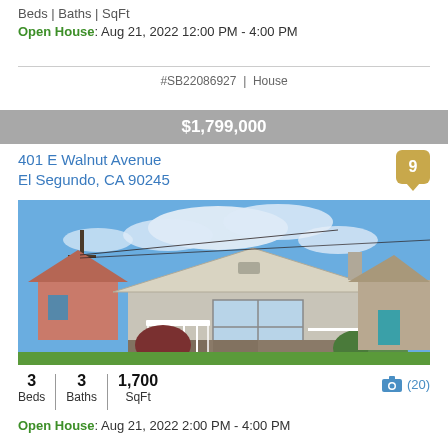Beds | Baths | SqFt
Open House: Aug 21, 2022 12:00 PM - 4:00 PM
#SB22086927 | House
$1,799,000
401 E Walnut Avenue
El Segundo, CA 90245
[Figure (photo): Exterior photo of a single-story bungalow style house with white trim, large front window, white picket fence, steps to front door, shrubs, and green lawn. Blue sky with clouds in background.]
3 Beds | 3 Baths | 1,700 SqFt
(20)
Open House: Aug 21, 2022 2:00 PM - 4:00 PM